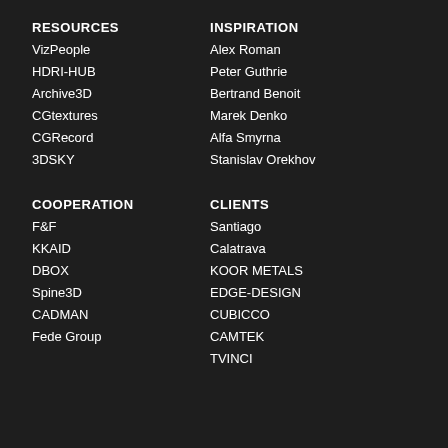RESOURCES
VizPeople
HDRI-HUB
Archive3D
CGtextures
CGRecord
3DSKY
COOPERATION
F&F
KKAID
DBOX
Spine3D
CADMAN
Fede Group
INSPIRATION
Alex Roman
Peter Guthrie
Bertrand Benoit
Marek Denko
Alfa Smyrna
Stanislav Orekhov
CLIENTS
Santiago
Calatrava
KOOR METALS
EDGE-DESIGN
CUBICCO
CAMTEK
TVINCI